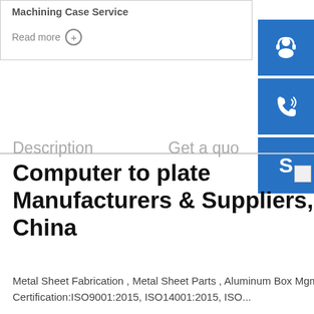Machining Case Service
Read more +
[Figure (illustration): Blue square icon with white customer service / headset person silhouette]
[Figure (illustration): Blue square icon with white telephone handset with signal waves]
[Figure (illustration): Blue square icon with white Skype logo S]
Description
Get a quote
Computer to plate Manufacturers & Suppliers, China
Metal Sheet Fabrication , Metal Sheet Parts , Aluminum Box Mgmt. Certification:ISO9001:2015, ISO14001:2015, ISO...